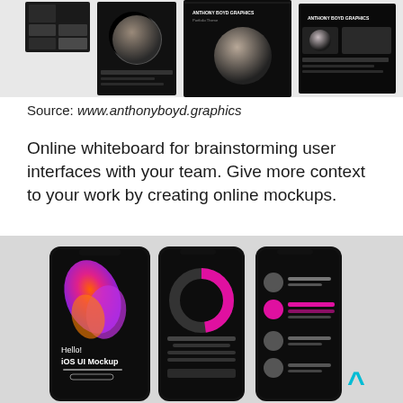[Figure (screenshot): Screenshot of Anthony Boyd Graphics website showing dark-themed UI mockup previews with 3D spheres and design portfolios displayed on multiple device screens]
Source: www.anthonyboyd.graphics
Online whiteboard for brainstorming user interfaces with your team. Give more context to your work by creating online mockups.
[Figure (screenshot): Screenshot showing three dark-themed iOS UI mockup phone screens: left phone displays a colorful swirl gradient with 'Hello! iOS UI Mockup' text, center phone shows a pink donut chart UI, right phone shows a list UI with pink and grey elements. A cyan upward arrow chevron is visible in the bottom right corner.]